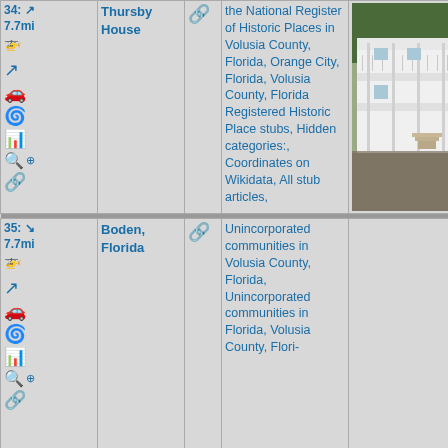| Nav | Name | Link | Categories | Image |
| --- | --- | --- | --- | --- |
| 34: 7.7mi [icons] | Thursby House | [link] | the National Register of Historic Places in Volusia County, Florida, Orange City, Florida, Volusia County, Florida Registered Historic Place stubs, Hidden categories:, Coordinates on Wikidata, All stub articles. | [photo of Thursby House] |
| 35: 7.7mi [icons] | Boden, Florida | [link] | Unincorporated communities in Volusia County, Florida, Unincorporated communities in Florida, Volusia County, Flori- |  |